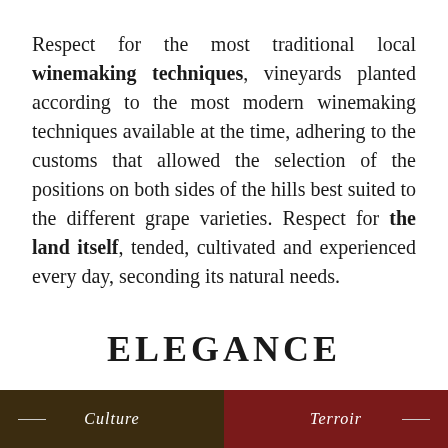Respect for the most traditional local winemaking techniques, vineyards planted according to the most modern winemaking techniques available at the time, adhering to the customs that allowed the selection of the positions on both sides of the hills best suited to the different grape varieties. Respect for the land itself, tended, cultivated and experienced every day, seconding its natural needs.
ELEGANCE
Culture    Terroir